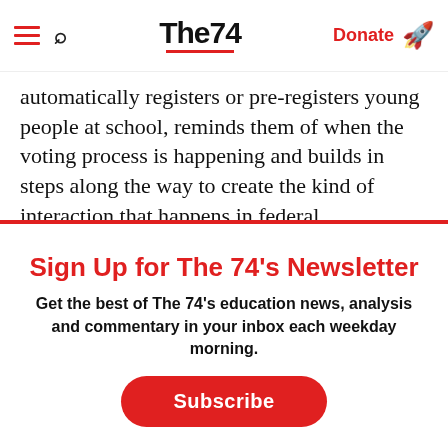The74 — Donate
automatically registers or pre-registers young people at school, reminds them of when the voting process is happening and builds in steps along the way to create the kind of interaction that happens in federal
Sign Up for The 74's Newsletter
Get the best of The 74's education news, analysis and commentary in your inbox each weekday morning.
Subscribe